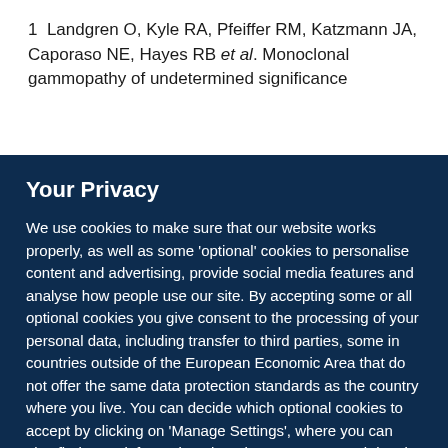1 Landgren O, Kyle RA, Pfeiffer RM, Katzmann JA, Caporaso NE, Hayes RB et al. Monoclonal gammopathy of undetermined significance
Your Privacy
We use cookies to make sure that our website works properly, as well as some 'optional' cookies to personalise content and advertising, provide social media features and analyse how people use our site. By accepting some or all optional cookies you give consent to the processing of your personal data, including transfer to third parties, some in countries outside of the European Economic Area that do not offer the same data protection standards as the country where you live. You can decide which optional cookies to accept by clicking on 'Manage Settings', where you can also find more information about how your personal data is processed. Further information can be found in our privacy policy.
Accept all cookies
Manage preferences